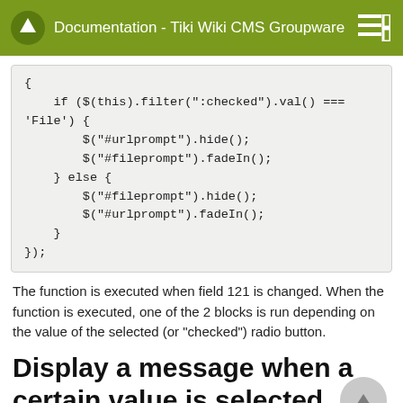Documentation - Tiki Wiki CMS Groupware
{
    if ($(this).filter(":checked").val() === 'File') {
        $("#urlprompt").hide();
        $("#fileprompt").fadeIn();
    } else {
        $("#fileprompt").hide();
        $("#urlprompt").fadeIn();
    }
});
The function is executed when field 121 is changed. When the function is executed, one of the 2 blocks is run depending on the value of the selected (or "checked") radio button.
Display a message when a certain value is selected